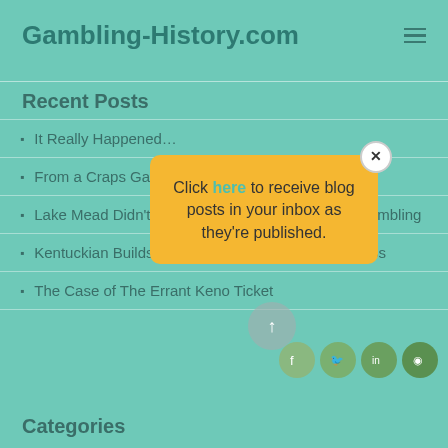Gambling-History.com
Recent Posts
It Really Happened…
From a Craps Game…
Lake Mead Didn't… to Gambling
Kentuckian Builds U.S. Gambling Franchise in 1800s
The Case of The Errant Keno Ticket
[Figure (other): Popup modal with yellow background saying: Click here to receive blog posts in your inbox as they're published. With a close button (X) in top right.]
Categories